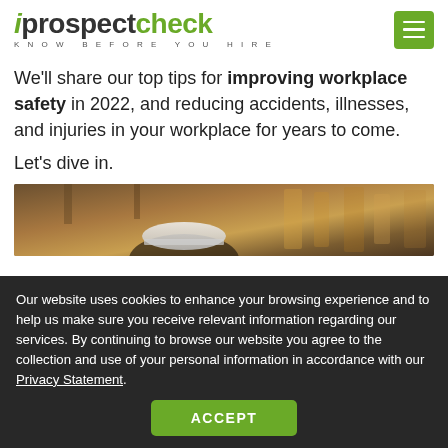iprospectcheck — KNOW BEFORE YOU HIRE
We'll share our top tips for improving workplace safety in 2022, and reducing accidents, illnesses, and injuries in your workplace for years to come.
Let's dive in.
[Figure (photo): Worker wearing a hard hat in an industrial warehouse setting, blurred background with shelving and equipment.]
Our website uses cookies to enhance your browsing experience and to help us make sure you receive relevant information regarding our services. By continuing to browse our website you agree to the collection and use of your personal information in accordance with our Privacy Statement.